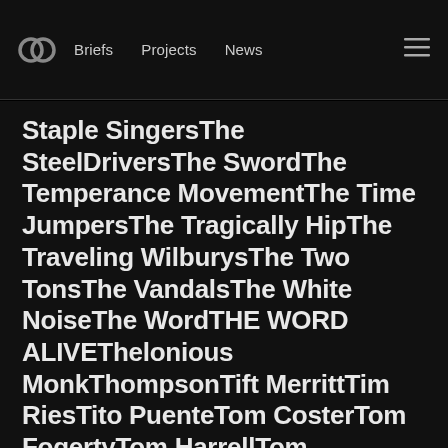CC logo | Briefs | Projects | News | Menu
Staple SingersThe SteelDriversThe SwordThe Temperance MovementThe Time JumpersThe Tragically HipThe Traveling WilburysThe Two TonsThe VandalsThe White NoiseThe WordTHE WORD ALIVEThelonious MonkThompsonTift MerrittTim RiesTito PuenteTom CosterTom FogertyTom HarrellTom RanierTom RushTomatitoTommy FlanaganTone-LocTonight AliveTony Bennett & Bill EvansTony TrischkaTrampled Under FootTrevor HallTrigger HippyTurk